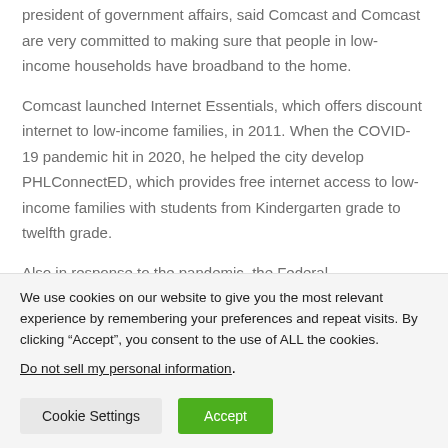president of government affairs, said Comcast and Comcast are very committed to making sure that people in low-income households have broadband to the home.
Comcast launched Internet Essentials, which offers discount internet to low-income families, in 2011. When the COVID-19 pandemic hit in 2020, he helped the city develop PHLConnectED, which provides free internet access to low-income families with students from Kindergarten grade to twelfth grade.
Also in response to the pandemic, the Federal Communications
We use cookies on our website to give you the most relevant experience by remembering your preferences and repeat visits. By clicking “Accept”, you consent to the use of ALL the cookies.
Do not sell my personal information.
Cookie Settings
Accept